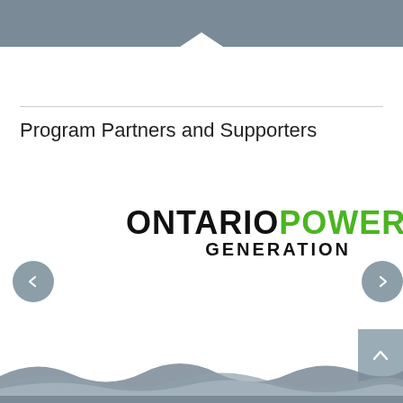Program Partners and Supporters
[Figure (logo): Ontario Power Generation logo — ONTARIO in black bold, POWER in green bold, GENERATION below in black bold smaller text]
[Figure (illustration): Bottom wave decoration in grey/blue tones and scroll-to-top arrow button]